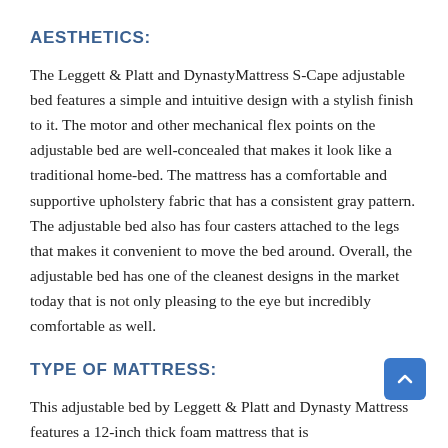AESTHETICS:
The Leggett & Platt and DynastyMattress S-Cape adjustable bed features a simple and intuitive design with a stylish finish to it. The motor and other mechanical flex points on the adjustable bed are well-concealed that makes it look like a traditional home-bed. The mattress has a comfortable and supportive upholstery fabric that has a consistent gray pattern. The adjustable bed also has four casters attached to the legs that makes it convenient to move the bed around. Overall, the adjustable bed has one of the cleanest designs in the market today that is not only pleasing to the eye but incredibly comfortable as well.
TYPE OF MATTRESS:
This adjustable bed by Leggett & Platt and Dynasty Mattress features a 12-inch thick foam mattress that is